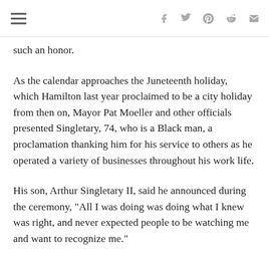Navigation and social share icons
such an honor.
As the calendar approaches the Juneteenth holiday, which Hamilton last year proclaimed to be a city holiday from then on, Mayor Pat Moeller and other officials presented Singletary, 74, who is a Black man, a proclamation thanking him for his service to others as he operated a variety of businesses throughout his work life.
His son, Arthur Singletary II, said he announced during the ceremony, “All I was doing was doing what I knew was right, and never expected people to be watching me and want to recognize me.”